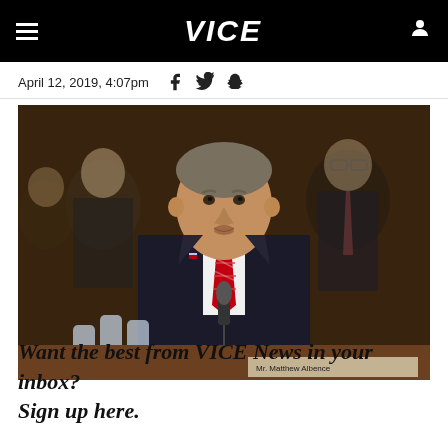VICE
April 12, 2019, 4:07pm
[Figure (photo): A man in a dark suit with a red striped tie speaking at what appears to be a Senate hearing, with other men in suits seated behind him and water bottles and a nameplate visible in the foreground.]
Want the best from VICE News in your inbox? Sign up here.